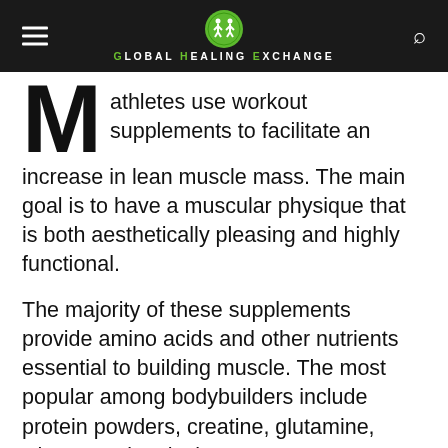Global Healing Exchange
Many athletes use workout supplements to facilitate an increase in lean muscle mass. The main goal is to have a muscular physique that is both aesthetically pleasing and highly functional.
The majority of these supplements provide amino acids and other nutrients essential to building muscle. The most popular among bodybuilders include protein powders, creatine, glutamine, whey protein, niacin, testosterone boosters, and many more.